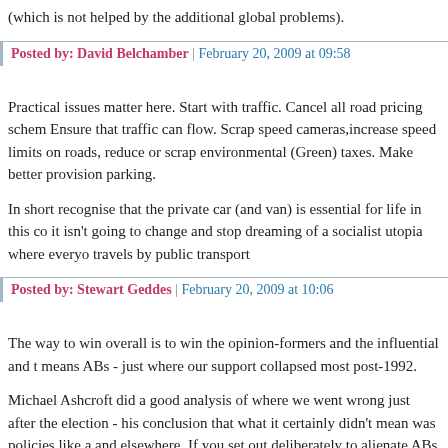(which is not helped by the additional global problems).
Posted by: David Belchamber | February 20, 2009 at 09:58
Practical issues matter here. Start with traffic. Cancel all road pricing schemes. Ensure that traffic can flow. Scrap speed cameras,increase speed limits on roads, reduce or scrap environmental (Green) taxes. Make better provision parking.
In short recognise that the private car (and van) is essential for life in this country, it isn't going to change and stop dreaming of a socialist utopia where everyone travels by public transport
Posted by: Stewart Geddes | February 20, 2009 at 10:06
The way to win overall is to win the opinion-formers and the influential and that means ABs - just where our support collapsed most post-1992.
Michael Ashcroft did a good analysis of where we went wrong just after the election - his conclusion that what it certainly didn't mean was policies like a and elsewhere. If you set out deliberately to alienate ABs you couldn't have up with a better list than that sort of thing.
Posted by: WHS | February 20, 2009 at 10:14